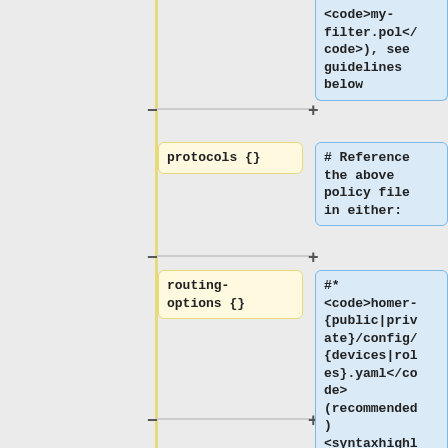<code>my-filter.pol</code>), see guidelines below
protocols {}
# Reference the above policy file in either:
routing-options {}
#* <code>homer-{public|private}/config/{devices|roles}.yaml</code> (recommended) <syntaxhighlight ight